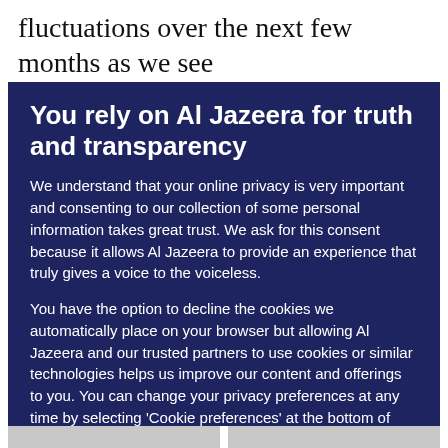fluctuations over the next few months as we see how the data shake out and how the Fed reacts.”
You rely on Al Jazeera for truth and transparency
We understand that your online privacy is very important and consenting to our collection of some personal information takes great trust. We ask for this consent because it allows Al Jazeera to provide an experience that truly gives a voice to the voiceless.
You have the option to decline the cookies we automatically place on your browser but allowing Al Jazeera and our trusted partners to use cookies or similar technologies helps us improve our content and offerings to you. You can change your privacy preferences at any time by selecting ‘Cookie preferences’ at the bottom of your screen. To learn more, please view our Cookie Policy.